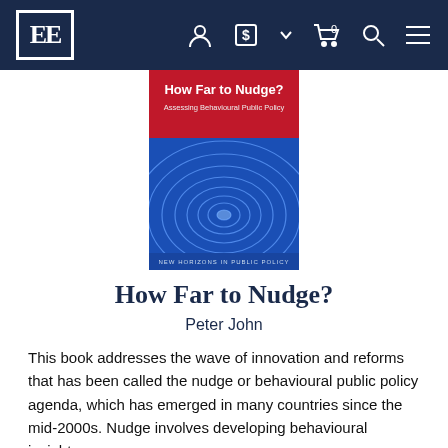EE [logo] — navigation bar with account, currency, cart, search, menu icons
[Figure (illustration): Book cover of 'How Far to Nudge? Assessing Behavioural Public Policy' by Peter John. Top portion is red with title text, lower portion is blue with concentric circular ripple pattern. Bottom reads 'NEW HORIZONS IN PUBLIC POLICY'.]
How Far to Nudge?
Peter John
This book addresses the wave of innovation and reforms that has been called the nudge or behavioural public policy agenda, which has emerged in many countries since the mid-2000s. Nudge involves developing behavioural insights